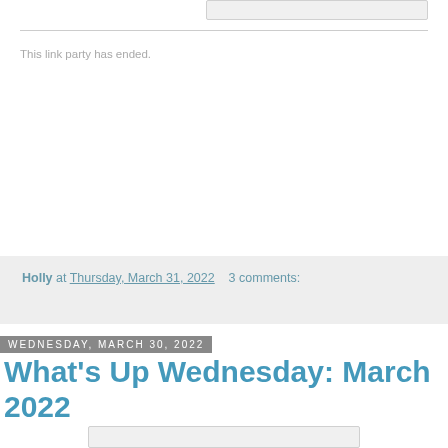This link party has ended.
Holly at Thursday, March 31, 2022   3 comments:
Wednesday, March 30, 2022
What's Up Wednesday: March 2022